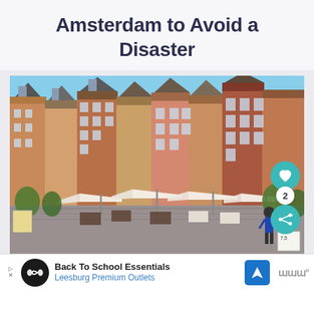Amsterdam to Avoid a Disaster
[Figure (photo): Colorful historic European buildings with outdoor cafe dining area with white umbrellas in a market square, clear blue sky above]
Back To School Essentials
Leesburg Premium Outlets